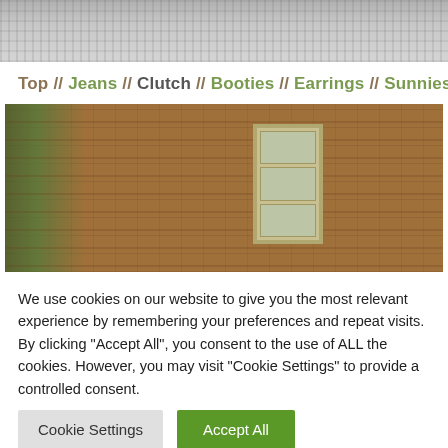[Figure (photo): Top partial image, appears to be a grayscale/muted photo, cropped at the top of the page]
Top // Jeans // Clutch // Booties // Earrings // Sunnies
[Figure (photo): Photo of a brick wall with ivy on the left side and a multi-pane window with stone/wood surround on the right side]
We use cookies on our website to give you the most relevant experience by remembering your preferences and repeat visits. By clicking "Accept All", you consent to the use of ALL the cookies. However, you may visit "Cookie Settings" to provide a controlled consent.
Cookie Settings
Accept All